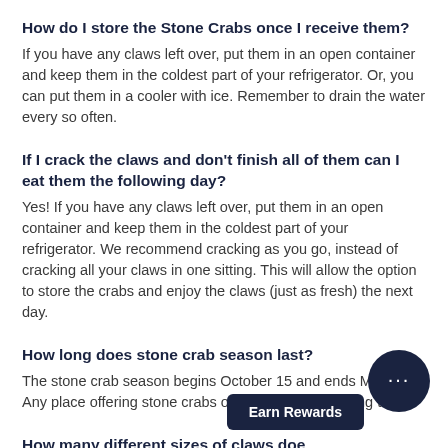How do I store the Stone Crabs once I receive them?
If you have any claws left over, put them in an open container and keep them in the coldest part of your refrigerator. Or, you can put them in a cooler with ice. Remember to drain the water every so often.
If I crack the claws and don't finish all of them can I eat them the following day?
Yes! If you have any claws left over, put them in an open container and keep them in the coldest part of your refrigerator. We recommend cracking as you go, instead of cracking all your claws in one sitting. This will allow the option to store the crabs and enjoy the claws (just as fresh) the next day.
How long does stone crab season last?
The stone crab season begins October 15 and ends May 1. Any place offering stone crabs out of season is serving them f
How many different sizes of claws doe